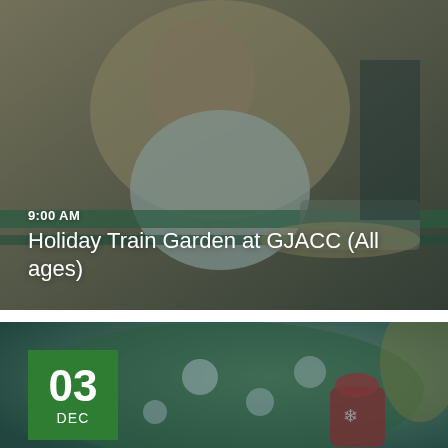[Figure (photo): Child laughing and reaching toward a model train set, with a blue-green overlay tint. Event info overlaid: 9:00 AM, Holiday Train Garden at GJACC (All ages)]
9:00 AM
Holiday Train Garden at GJACC (All ages)
[Figure (photo): Christmas tree decorations with snowflake ornaments and red mittens, with a blue-green overlay tint. Date badge showing 03 DEC in green square.]
03 DEC